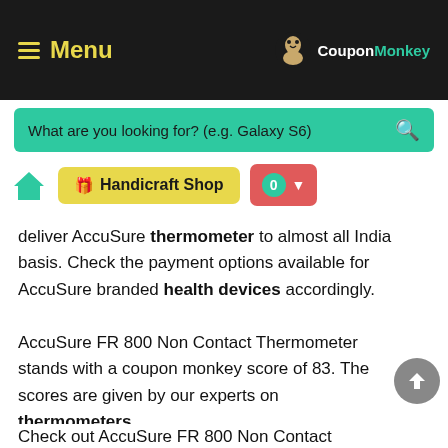Menu | CouponMonkey
[Figure (screenshot): Search bar with teal background and placeholder text: What are you looking for? (e.g. Galaxy S6)]
[Figure (screenshot): Navigation row with home icon, yellow Handicraft Shop button, and red cart button showing 0]
deliver AccuSure thermometer to almost all India basis. Check the payment options available for AccuSure branded health devices accordingly.
AccuSure FR 800 Non Contact Thermometer stands with a coupon monkey score of 83. The scores are given by our experts on thermometers.
Check out AccuSure FR 800 Non Contact Thermometer